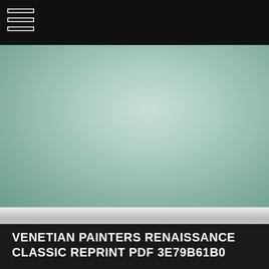[Figure (illustration): Muted sage green gradient background image, lighter in the center fading to darker green at the edges, resembling a studio or interior photography backdrop.]
VENETIAN PAINTERS RENAISSANCE CLASSIC REPRINT PDF 3E79B61B0